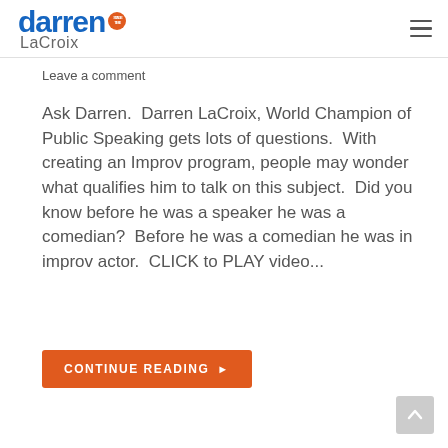darren LaCroix [Stage Time badge]
Leave a comment
Ask Darren.  Darren LaCroix, World Champion of Public Speaking gets lots of questions.  With creating an Improv program, people may wonder what qualifies him to talk on this subject.  Did you know before he was a speaker he was a comedian?  Before he was a comedian he was in improv actor.  CLICK to PLAY video...
CONTINUE READING